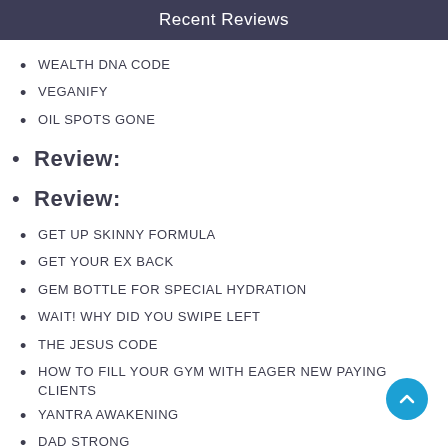Recent Reviews
WEALTH DNA CODE
VEGANIFY
OIL SPOTS GONE
Review:
Review:
GET UP SKINNY FORMULA
GET YOUR EX BACK
GEM BOTTLE FOR SPECIAL HYDRATION
WAIT! WHY DID YOU SWIPE LEFT
THE JESUS CODE
HOW TO FILL YOUR GYM WITH EAGER NEW PAYING CLIENTS
YANTRA AWAKENING
DAD STRONG
FOOD SECURITY SECRETS
MONSTER TITAN
PLR ACTION PLAN